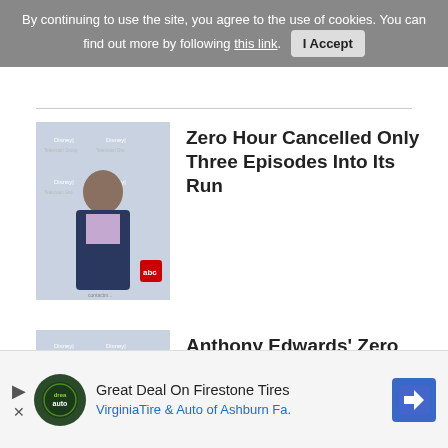By continuing to use the site, you agree to the use of cookies. You can find out more by following this link.  I Accept
[Figure (photo): Man in navy blazer and light purple shirt standing in front of Disney | ABC Television Group branded backdrop]
Zero Hour Cancelled Only Three Episodes Into Its Run
[Figure (photo): Anthony Edwards in navy blazer standing in front of Disney | ABC Television Group branded backdrop]
Anthony Edwards' Zero Hour Cancelled
[Figure (infographic): Advertisement: Great Deal On Firestone Tires - VirginiaTire & Auto of Ashburn Fa. with Drea.auto logo and blue navigation arrow icon]